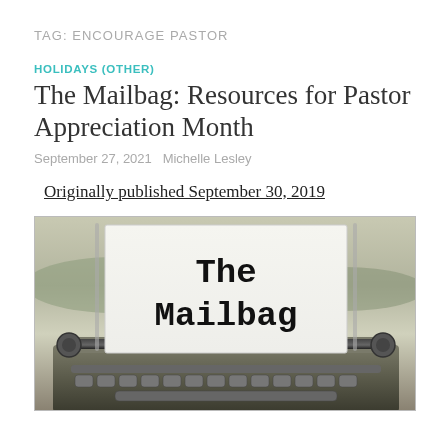TAG: ENCOURAGE PASTOR
HOLIDAYS (OTHER)
The Mailbag: Resources for Pastor Appreciation Month
September 27, 2021   Michelle Lesley
Originally published September 30, 2019
[Figure (photo): Photograph of a vintage typewriter with a sheet of paper reading 'The Mailbag' in bold typewriter font, sepia-toned image, with the typewriter machinery visible below]